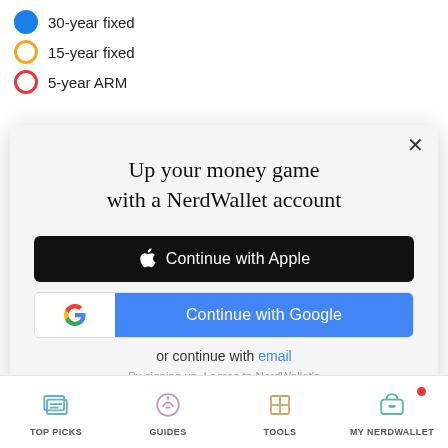30-year fixed
15-year fixed
5-year ARM
[Figure (screenshot): NerdWallet modal dialog prompting user to create an account. Contains title 'Up your money game with a NerdWallet account', a black 'Continue with Apple' button, a blue 'Continue with Google' button with Google G logo, 'or continue with email' link, and terms of service text.]
TOP PICKS | GUIDES | TOOLS | MY NERDWALLET